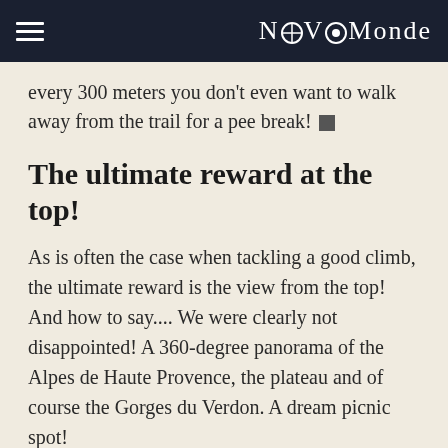NovoMonde
every 300 meters you don't even want to walk away from the trail for a pee break! 🔲
The ultimate reward at the top!
As is often the case when tackling a good climb, the ultimate reward is the view from the top! And how to say.... We were clearly not disappointed! A 360-degree panorama of the Alpes de Haute Provence, the plateau and of course the Gorges du Verdon. A dream picnic spot!